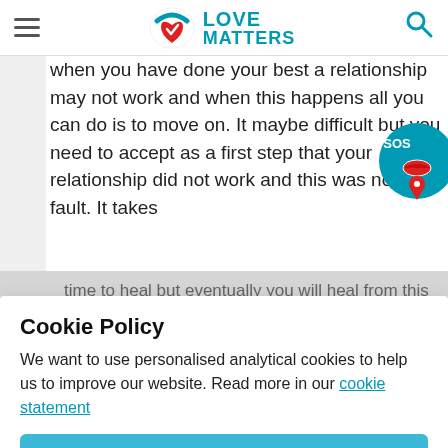Love Matters
when you have done your best a relationship may not work and when this happens all you can do is to move on. It maybe difficult but you need to accept as a first step that your relationship did not work and this was not your fault. It takes
[Figure (illustration): SOS badge with lips/location pin icon on teal circular background]
time to heal but eventually you will heal from this break up and move on. Have a look at the following article for some tips: https://lovemattersafrica.com/love-relationships/breaking-up/coping-
Cookie Policy
We want to use personalised analytical cookies to help us to improve our website. Read more in our cookie statement
YES
My name is David...